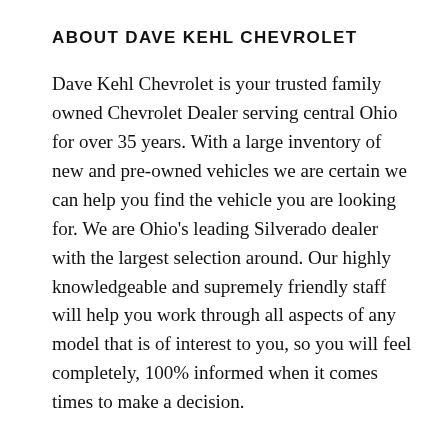ABOUT DAVE KEHL CHEVROLET
Dave Kehl Chevrolet is your trusted family owned Chevrolet Dealer serving central Ohio for over 35 years. With a large inventory of new and pre-owned vehicles we are certain we can help you find the vehicle you are looking for. We are Ohio’s leading Silverado dealer with the largest selection around. Our highly knowledgeable and supremely friendly staff will help you work through all aspects of any model that is of interest to you, so you will feel completely, 100% informed when it comes times to make a decision.